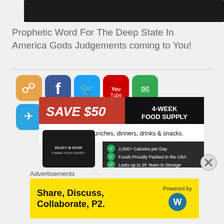[Figure (photo): Dark/black top portion of an image (cropped), likely a video thumbnail]
Prophetic Word For The Deep State In America Gods Judgements coming to You!
[Figure (infographic): Social media icons (RSS, Facebook, Twitter, YouTube, Gmail, Telegram, LinkedIn) overlapping with a food supply advertisement banner reading SAVE $50 4 WEEK FOOD SUPPLY with Ready Hour branding, showing a black bucket and bullet points: 2,000+ Calories per Day, Foods Proudly Packed in the USA, Lasts up to 25 Years in Storage]
Advertisements
[Figure (infographic): Yellow advertisement banner: Share, Discuss, Collaborate, P2. Powered by WordPress logo]